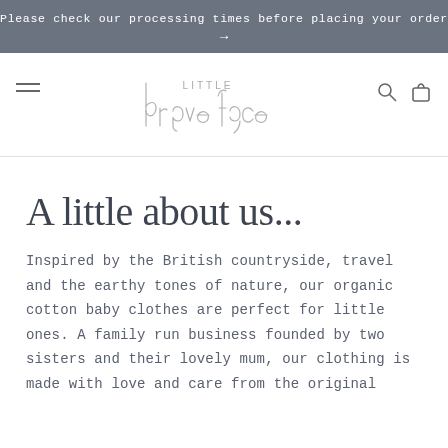Please check our processing times before placing your order →
[Figure (logo): Little Brave Face logo — stylized script text reading 'brave face' with smaller sans-serif 'LITTLE' above, in light grey]
A little about us...
Inspired by the British countryside, travel and the earthy tones of nature, our organic cotton baby clothes are perfect for little ones. A family run business founded by two sisters and their lovely mum, our clothing is made with love and care from the original